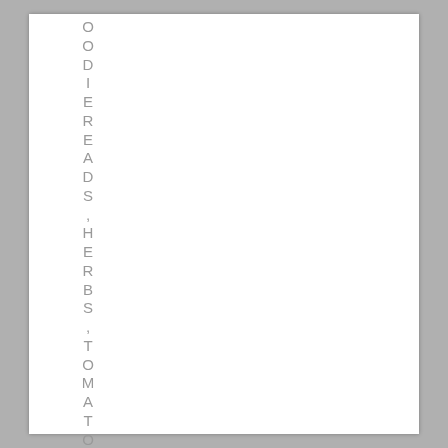OODIE READS , HERBS , TOMATOES